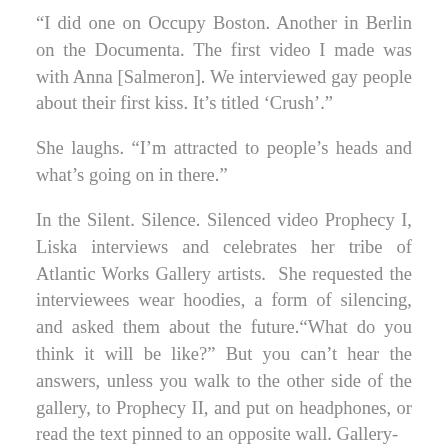“I did one on Occupy Boston. Another in Berlin on the Documenta. The first video I made was with Anna [Salmeron]. We interviewed gay people about their first kiss. It’s titled ‘Crush’.”
She laughs. “I’m attracted to people’s heads and what’s going on in there.”
In the Silent. Silence. Silenced video Prophecy I, Liska interviews and celebrates her tribe of Atlantic Works Gallery artists.  She requested the interviewees wear hoodies, a form of silencing, and asked them about the future.“What do you think it will be like?” But you can’t hear the answers, unless you walk to the other side of the gallery, to Prophecy II, and put on headphones, or read the text pinned to an opposite wall. Gallery-